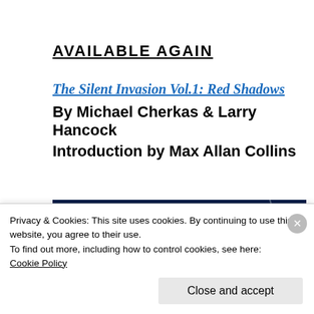AVAILABLE AGAIN
The Silent Invasion Vol.1: Red Shadows
By Michael Cherkas & Larry Hancock
Introduction by Max Allan Collins
[Figure (photo): Book cover image showing 'THE SILENT INVASION' text on dark navy blue background with yellow/green title lettering and text 'SEE AMERICA TORN APART' visible]
Privacy & Cookies: This site uses cookies. By continuing to use this website, you agree to their use.
To find out more, including how to control cookies, see here:
Cookie Policy
Close and accept